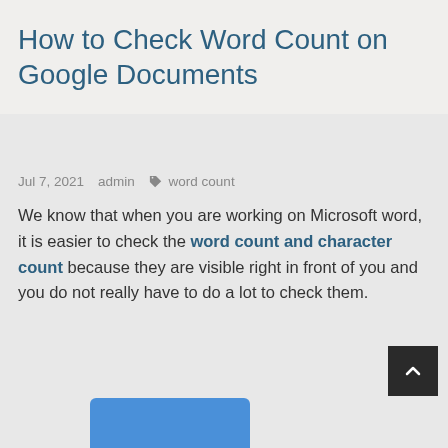How to Check Word Count on Google Documents
Jul 7, 2021   admin   🏷 word count
We know that when you are working on Microsoft word, it is easier to check the word count and character count because they are visible right in front of you and you do not really have to do a lot to check them.
[Figure (screenshot): Partial screenshot of a blue document interface element at the bottom of the page]